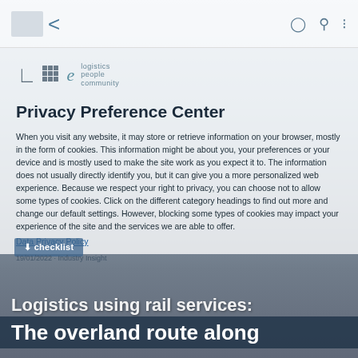< [navigation bar with logo, chevron icon, user icon, search icon, grid icon]
[Figure (logo): LPe logistics people community logo with grid icon]
Privacy Preference Center
When you visit any website, it may store or retrieve information on your browser, mostly in the form of cookies. This information might be about you, your preferences or your device and is mostly used to make the site work as you expect it to. The information does not usually directly identify you, but it can give you a more personalized web experience. Because we respect your right to privacy, you can choose not to allow some types of cookies. Click on the different category headings to find out more and change our default settings. However, blocking some types of cookies may impact your experience of the site and the services we are able to offer.
Data Privacy Policy
Logistics using rail services: The overland route along